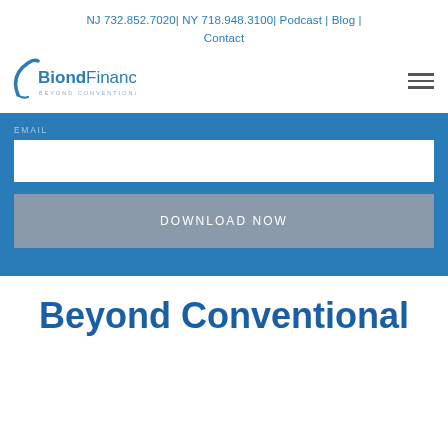NJ 732.852.7020| NY 718.948.3100| Podcast | Blog | Contact
[Figure (logo): Biond Financial logo with tagline 'Beyond Conventional']
EMAIL
DOWNLOAD NOW
Beyond Conventional